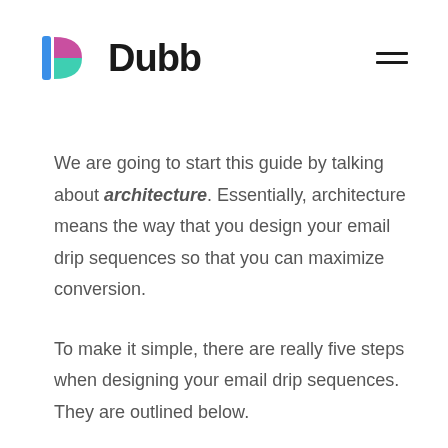[Figure (logo): Dubb logo with colorful D icon (blue, pink, teal) and bold black wordmark 'Dubb']
We are going to start this guide by talking about architecture. Essentially, architecture means the way that you design your email drip sequences so that you can maximize conversion.
To make it simple, there are really five steps when designing your email drip sequences. They are outlined below.